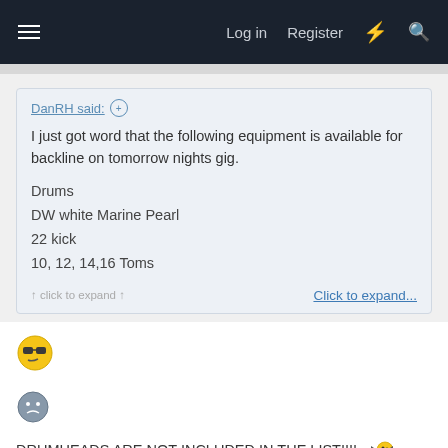Log in   Register
DanRH said: ⊕
I just got word that the following equipment is available for backline on tomorrow nights gig.

Drums
DW white Marine Pearl
22 kick
10, 12, 14,16 Toms
Click to expand...
[Figure (illustration): A small pixel-art style emoji showing a suspicious or skeptical face with sunglasses]
[Figure (illustration): A small pixel-art style emoji showing a face with a thinking or concerned expression]
DRUMHEADS ARE NOT INCLUDED IN THE LIST!!!!